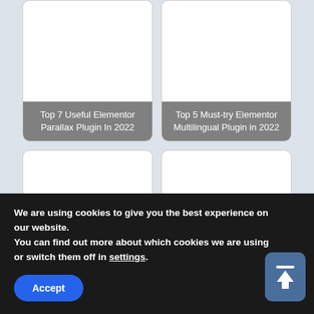[Figure (screenshot): Card with white image area and title 'Top 7 Useful Elementor Parallax Plugin In 2022' on grey overlay]
[Figure (screenshot): Card with white image area and title 'Top 5 Must-try Elementor Multilingual Plugin in 2022' on grey overlay]
[Figure (screenshot): Card with white image area and title 'List of 7 Useful SEO Plugin for Elementor' on grey overlay]
[Figure (screenshot): Card with white image area and title 'Collection of 7 Must-have Elementor LMS' on grey overlay]
We are using cookies to give you the best experience on our website.
You can find out more about which cookies we are using or switch them off in settings.
Accept